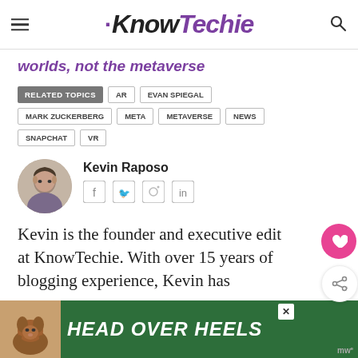KnowTechie
worlds, not the metaverse
RELATED TOPICS: AR, EVAN SPIEGAL, MARK ZUCKERBERG, META, METAVERSE, NEWS, SNAPCHAT, VR
Kevin Raposo
[Figure (photo): Circular avatar photo of Kevin Raposo]
Kevin is the founder and executive editor at KnowTechie. With over 15 years of blogging experience, Kevin has...
[Figure (other): Advertisement banner: HEAD OVER HEELS with dog image on dark green background]